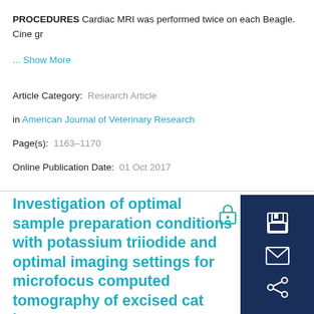PROCEDURES Cardiac MRI was performed twice on each Beagle. Cine gr
... Show More
Article Category:  Research Article
in American Journal of Veterinary Research
Page(s):  1163–1170
Online Publication Date:  01 Oct 2017
Investigation of optimal sample preparation conditions with potassium triiodide and optimal imaging settings for microfocus computed tomography of excised cat hearts